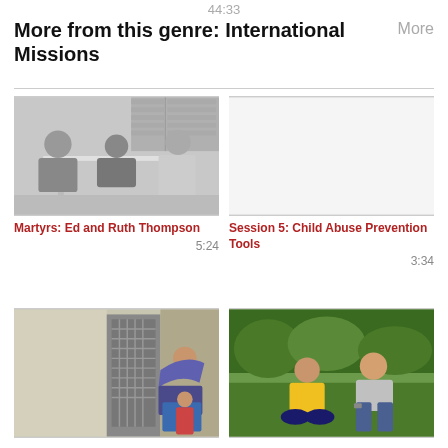44:33
More from this genre: International Missions
More
[Figure (photo): Black and white photo of three people sitting around a white table, appearing to be in a meeting or study session.]
Martyrs: Ed and Ruth Thompson
5:24
Session 5: Child Abuse Prevention Tools
3:34
[Figure (photo): Color photo of a woman bending down to greet a small child at a doorway with a decorative metal door.]
[Figure (photo): Color photo of two men sitting cross-legged on grass, one wearing a yellow Brazil jersey, having a conversation outdoors.]